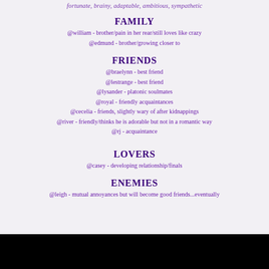fortunate, brainy, adaptable, ambitious, sympathetic
FAMILY
@william  - brother/pain in her rear/still loves like crazy
@edmund  - brother/growing closer to
FRIENDS
@braelynn - best friend
@lestrange - best friend
@lysander - platonic soulmates
@royal - friendly acquaintances
@cecelia - friends, slightly wary of after kidnappings
@river - friendly/thinks he is adorable but not in a romantic way
@rj - acquaintance
LOVERS
@casey - developing relationship/finals
ENEMIES
@leigh - mutual annoyances but will become good friends...eventually